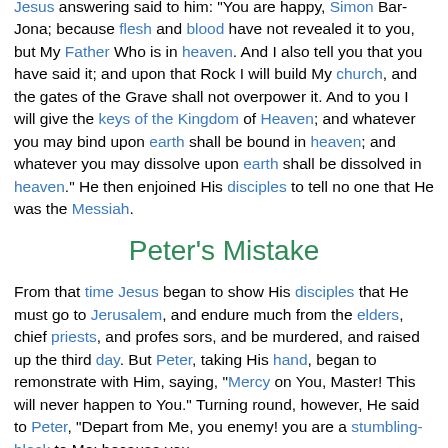Jesus answering said to him: "You are happy, Simon Bar-Jona; because flesh and blood have not revealed it to you, but My Father Who is in heaven. And I also tell you that you have said it; and upon that Rock I will build My church, and the gates of the Grave shall not overpower it. And to you I will give the keys of the Kingdom of Heaven; and whatever you may bind upon earth shall be bound in heaven; and whatever you may dissolve upon earth shall be dissolved in heaven." He then enjoined His disciples to tell no one that He was the Messiah.
Peter's Mistake
From that time Jesus began to show His disciples that He must go to Jerusalem, and endure much from the elders, chief priests, and profes sors, and be murdered, and raised up the third day. But Peter, taking His hand, began to remonstrate with Him, saying, "Mercy on You, Master! This will never happen to You." Turning round, however, He said to Peter, "Depart from Me, you enemy! you are a stumbling-block to Me; because you